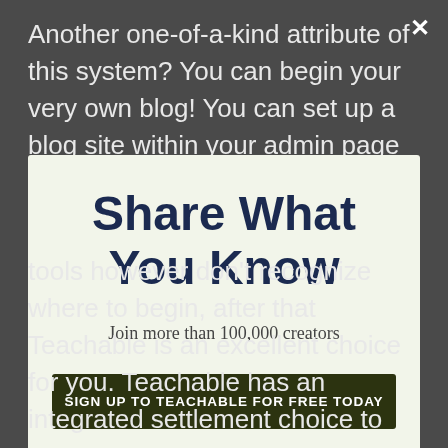Another one-of-a-kind attribute of this system? You can begin your very own blog! You can set up a blog site within your admin page so you do not
[Figure (screenshot): Modal popup overlay with light green-white background. Contains bold dark navy title 'Share What You Know', subtitle 'Join more than 100,000 creators', a dark olive-green button labeled 'SIGN UP TO TEACHABLE FOR FREE TODAY', and a dismiss link 'No thanks, I'm not interested!' with an X close button in the top right corner of the background.]
tools however don't recognize where to begin, after that Teachable is an excellent choice for you. Teachable has an integrated settlement choice to